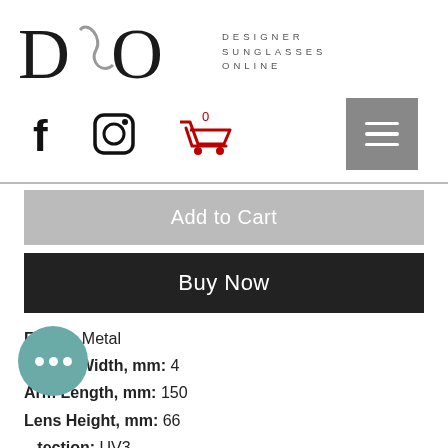[Figure (logo): Designer Sunglasses Online logo with stylized DSO letters and text]
[Figure (infographic): Navigation bar with Facebook icon, Instagram icon, shopping cart with 0 items, and hamburger menu button]
Add to Cart
Buy Now
Frame: Metal
Bridge Width, mm: 4
Arm Length, mm: 150
Lens Height, mm: 66
...tection: UV3
...olour: Black (EVS.26411)
Original Packaging: Yes